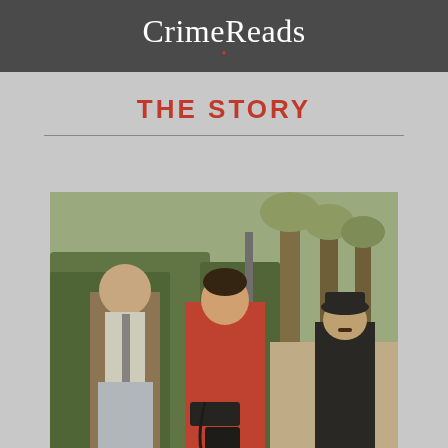CrimeReads
THE STORY
[Figure (photo): A film still showing three people outdoors in a park-like setting. A man in a brown suit stands on the left, a woman in a red coat with black gloves and handbag stands in the center, and a man in a dark coat and hat stands in the background right.]